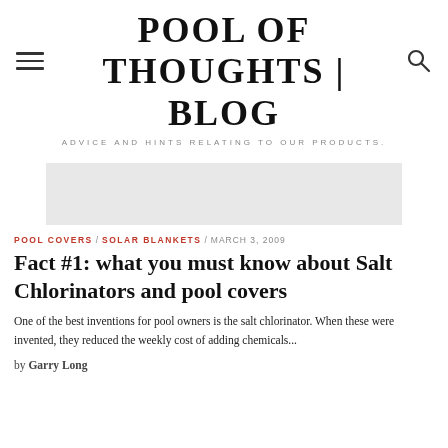POOL OF THOUGHTS | BLOG
ADVICE AND HINTS RELATING TO OUR PRODUCTS.
[Figure (other): Light gray rectangular image placeholder]
POOL COVERS / SOLAR BLANKETS / MARCH 3, 2009
Fact #1: what you must know about Salt Chlorinators and pool covers
One of the best inventions for pool owners is the salt chlorinator. When these were invented, they reduced the weekly cost of adding chemicals...
by Garry Long